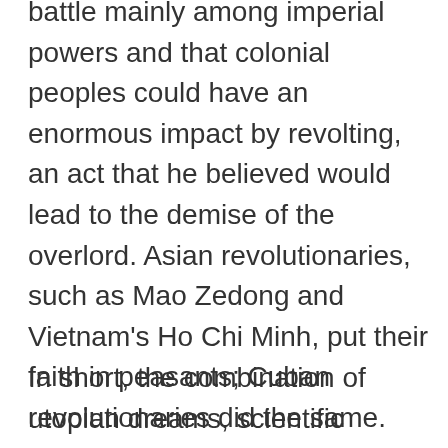battle mainly among imperial powers and that colonial peoples could have an enormous impact by revolting, an act that he believed would lead to the demise of the overlord. Asian revolutionaries, such as Mao Zedong and Vietnam's Ho Chi Minh, put their faith in peasants; Cuban revolutionaries did the same. And to be sure, without this reformulation of goals, revolutionaries achieving power in these countries would have been unlikely.
In short, the combination of utopian dreams, scientific support, hopes for workers, and